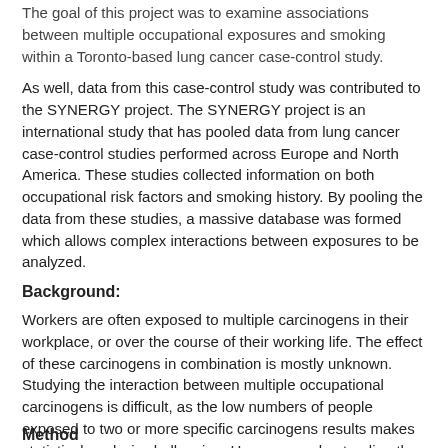The goal of this project was to examine associations between multiple occupational exposures and smoking within a Toronto-based lung cancer case-control study.
As well, data from this case-control study was contributed to the SYNERGY project. The SYNERGY project is an international study that has pooled data from lung cancer case-control studies performed across Europe and North America. These studies collected information on both occupational risk factors and smoking history. By pooling the data from these studies, a massive database was formed which allows complex interactions between exposures to be analyzed.
Background:
Workers are often exposed to multiple carcinogens in their workplace, or over the course of their working life. The effect of these carcinogens in combination is mostly unknown. Studying the interaction between multiple occupational carcinogens is difficult, as the low numbers of people exposed to two or more specific carcinogens results makes statistical analysis challenging. However, understanding the joint effects of occupational carcinogens is important for improving prevention efforts and ensuring appropriate compensation for workers who develop occupational cancer.
Methods